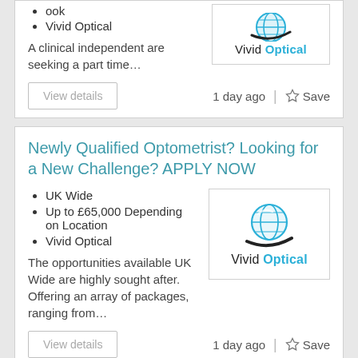ook
Vivid Optical
A clinical independent are seeking a part time…
1 day ago  |  ☆ Save
Newly Qualified Optometrist? Looking for a New Challenge? APPLY NOW
UK Wide
Up to £65,000 Depending on Location
Vivid Optical
The opportunities available UK Wide are highly sought after. Offering an array of packages, ranging from…
1 day ago  |  ☆ Save